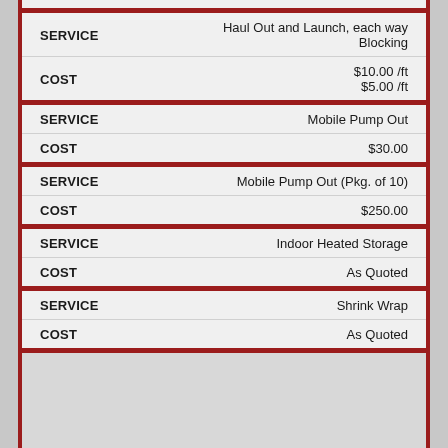| SERVICE | COST |
| --- | --- |
| Haul Out and Launch, each way
Blocking | $10.00 /ft
$5.00 /ft |
| Mobile Pump Out | $30.00 |
| Mobile Pump Out (Pkg. of 10) | $250.00 |
| Indoor Heated Storage | As Quoted |
| Shrink Wrap | As Quoted |